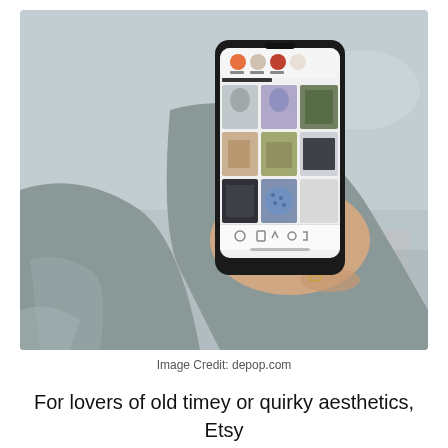[Figure (photo): A person's hand holding a smartphone outdoors, displaying the Depop app with fashion items in a grid layout. The person is wearing a grey jacket.]
Image Credit: depop.com
For lovers of old timey or quirky aesthetics, Etsy